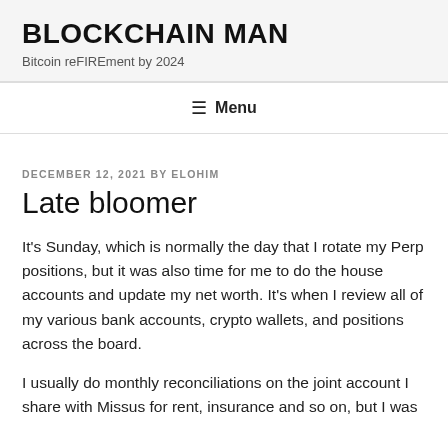BLOCKCHAIN MAN
Bitcoin reFIREment by 2024
≡ Menu
DECEMBER 12, 2021 BY ELOHIM
Late bloomer
It's Sunday, which is normally the day that I rotate my Perp positions, but it was also time for me to do the house accounts and update my net worth. It's when I review all of my various bank accounts, crypto wallets, and positions across the board.
I usually do monthly reconciliations on the joint account I share with Missus for rent, insurance and so on, but I was